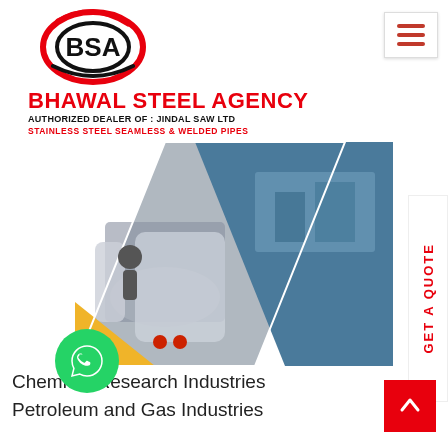[Figure (logo): BSA logo - Bhawal Steel Agency logo with red and black design]
BHAWAL STEEL AGENCY
AUTHORIZED DEALER OF : JINDAL SAW LTD
STAINLESS STEEL SEAMLESS & WELDED PIPES
[Figure (photo): Collage of industrial images showing pipes, tanks, and industrial facilities arranged in a diamond/chevron shape]
Chemical Research Industries
Petroleum and Gas Industries
Agriculture Engineering Industries
Mechanical Engineering Industries
Civil Engineering Industries